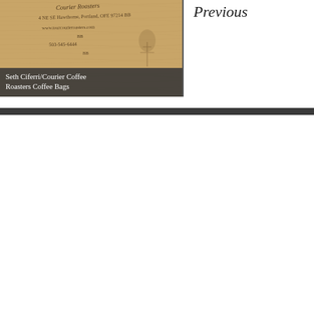[Figure (photo): Photo of kraft/wood surface with handwritten text showing address and contact information for Courier Coffee Roasters, Portland, Oregon]
Seth Ciferri/Courier Coffee Roasters Coffee Bags
Previous